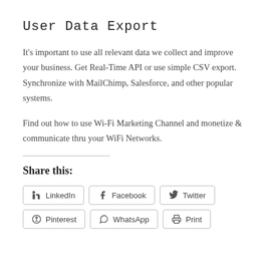User Data Export
It’s important to use all relevant data we collect and improve your business. Get Real-Time API or use simple CSV export. Synchronize with MailChimp, Salesforce, and other popular systems.
Find out how to use Wi-Fi Marketing Channel and monetize & communicate thru your WiFi Networks.
Share this:
LinkedIn
Facebook
Twitter
Pinterest
WhatsApp
Print